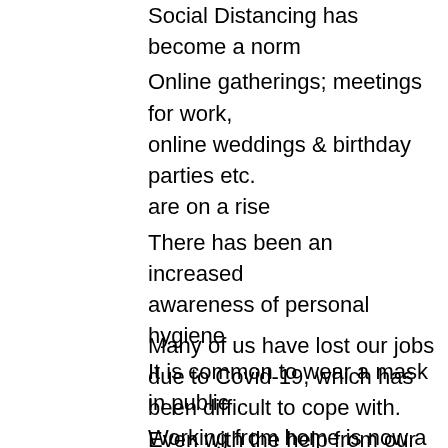Social Distancing has become a norm
Online gatherings; meetings for work, online weddings & birthday parties etc. are on a rise
There has been an increased awareness of personal hygiene
It is common to wear a mask in public
Working from home is now a daily routine
Many of us have lost our jobs due to Covid-19, which has been difficult to cope with. Even with the help from our respective governments, many of us have found out the hard way the truth about Job Security; there is none. The pandemic has also